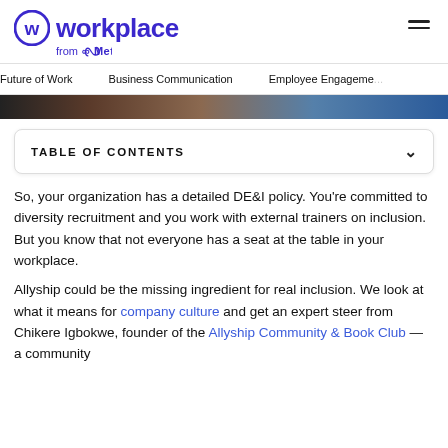Workplace from Meta
Future of Work | Business Communication | Employee Engagement
[Figure (photo): Partial bottom strip of a photo showing people, cropped at top of visible area]
TABLE OF CONTENTS
So, your organization has a detailed DE&I policy. You're committed to diversity recruitment and you work with external trainers on inclusion. But you know that not everyone has a seat at the table in your workplace.
Allyship could be the missing ingredient for real inclusion. We look at what it means for company culture and get an expert steer from Chikere Igbokwe, founder of the Allyship Community & Book Club — a community